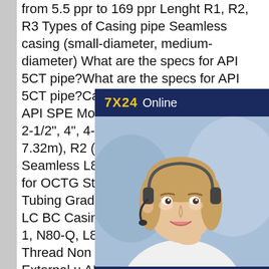from 5.5 ppr to 169 ppr Lenght R1, R2, R3 Types of Casing pipe Seamless casing (small-diameter, medium-diameter) What are the specs for API 5CT pipe?What are the specs for API 5CT pipe?Casing Specifications Standards API SPE Model in Common Use 2-3/8", 2-1/2", 4", 4-1/2" Length Range R1 7.32m), R2 (8.53-9.75m), R3 (11 Seamless L80 7 26 00 P LC BC C Pipe for OCTG Steel Grade (Cas Grades, Tubing Grade API 5CT S L80 7 26 00 P LC BC Casing Pip OCTG J55, K55, N80-1, N80-Q, L80, P110 Type of Screw Thread Non upset threaded end (NUE), External u API 5CT Seamless L80 7 26 00 P LC BC Casing Pipe for OCTG 1 more rows API 5CT Seamless L80 7 26 00 P LC BC Casing
[Figure (other): Chat widget with '7X24 Online' header in dark blue/yellow, photo of smiling woman with headset, text 'Hello,may I help you?' and yellow 'Get Latest Price' button]